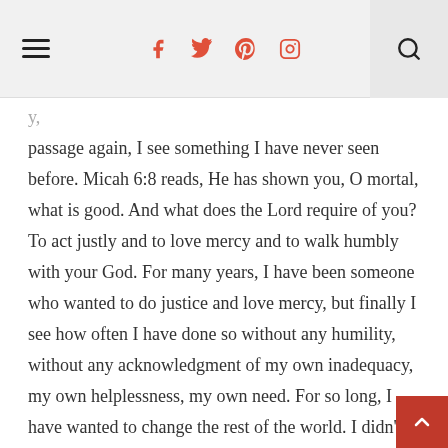hamburger menu | social icons: f, twitter, pinterest, instagram | search
passage again, I see something I have never seen before. Micah 6:8 reads, He has shown you, O mortal, what is good. And what does the Lord require of you? To act justly and to love mercy and to walk humbly with your God. For many years, I have been someone who wanted to do justice and love mercy, but finally I see how often I have done so without any humility, without any acknowledgment of my own inadequacy, my own helplessness, my own need. For so long, I have wanted to change the rest of the world. I didn't